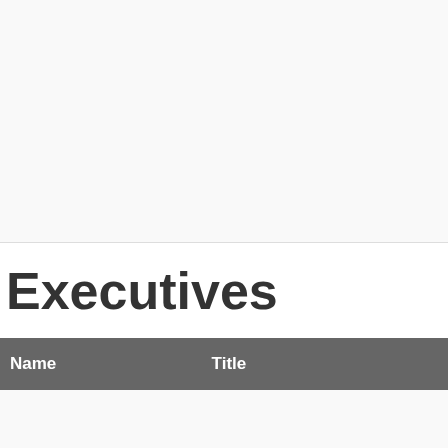Executives
| Name | Title |
| --- | --- |